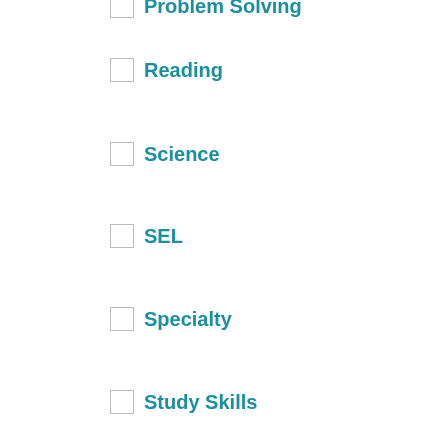Problem Solving
Reading
Science
SEL
Specialty
Study Skills
Writing
Strong Learning Gear
T-Shirt
BUNDLED PRODUCTS
Featured Bundles
Featured Downloads